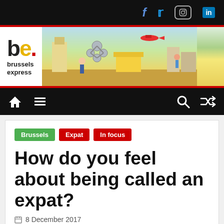Brussels Express - Social media icons: facebook, twitter, instagram, linkedin
[Figure (logo): Brussels Express logo with 'be.' in large text (b in black, e in yellow, dot in red) and 'brussels express' text below, alongside illustrated cartoon banner of Brussels city scenes]
Navigation bar with home, menu, search, and random icons
Brussels
Expat
In focus
How do you feel about being called an expat?
8 December 2017
[Figure (photo): Black and white portrait photo of a woman smiling, cropped at shoulders]